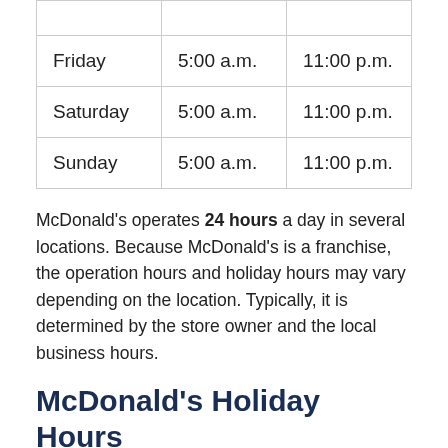|  |  |  |
| Friday | 5:00 a.m. | 11:00 p.m. |
| Saturday | 5:00 a.m. | 11:00 p.m. |
| Sunday | 5:00 a.m. | 11:00 p.m. |
McDonald's operates 24 hours a day in several locations. Because McDonald's is a franchise, the operation hours and holiday hours may vary depending on the location. Typically, it is determined by the store owner and the local business hours.
McDonald's Holiday Hours
McDonald's is open on all holidays except for